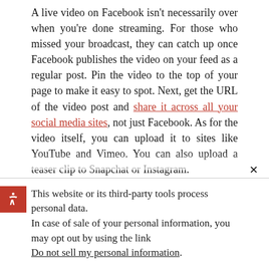A live video on Facebook isn't necessarily over when you're done streaming. For those who missed your broadcast, they can catch up once Facebook publishes the video on your feed as a regular post. Pin the video to the top of your page to make it easy to spot. Next, get the URL of the video post and share it across all your social media sites, not just Facebook. As for the video itself, you can upload it to sites like YouTube and Vimeo. You can also upload a teaser clip to Snapchat or Instagram.

Facebook Live is only one of the many tools you can use to drive increased traffic to your landing
This website or its third-party tools process personal data.
In case of sale of your personal information, you may opt out by using the link
Do not sell my personal information.